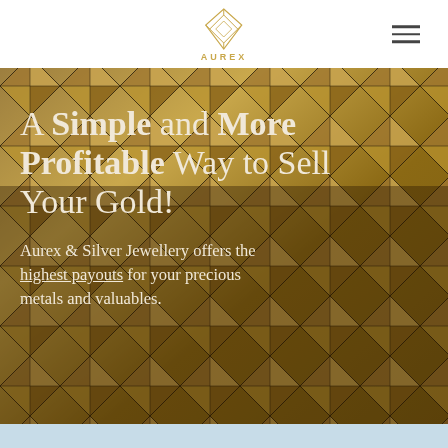AUREX
[Figure (photo): Gold geometric metallic triangle pattern background — close-up of a textured gold surface made of repeating triangular faceted shapes forming a 3D diamond-like pattern]
A Simple and More Profitable Way to Sell Your Gold!
Aurex & Silver Jewellery offers the highest payouts for your precious metals and valuables.